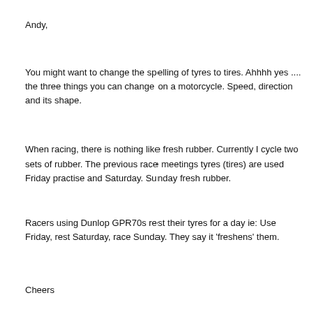Andy,
You might want to change the spelling of tyres to tires. Ahhhh yes .... the three things you can change on a motorcycle. Speed, direction and its shape.
When racing, there is nothing like fresh rubber. Currently I cycle two sets of rubber. The previous race meetings tyres (tires) are used Friday practise and Saturday. Sunday fresh rubber.
Racers using Dunlop GPR70s rest their tyres for a day ie: Use Friday, rest Saturday, race Sunday. They say it 'freshens' them.
Cheers